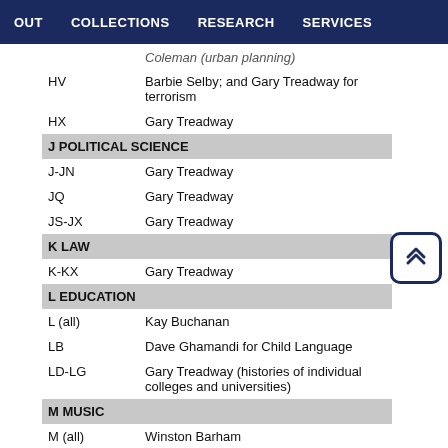OUT   COLLECTIONS   RESEARCH   SERVICES
| Code | Librarian |
| --- | --- |
|  | Coleman (urban planning) |
| HV | Barbie Selby; and Gary Treadway for terrorism |
| HX | Gary Treadway |
| J POLITICAL SCIENCE |  |
| J-JN | Gary Treadway |
| JQ | Gary Treadway |
| JS-JX | Gary Treadway |
| K LAW |  |
| K-KX | Gary Treadway |
| L EDUCATION |  |
| L (all) | Kay Buchanan |
| LB | Dave Ghamandi for Child Language |
| LD-LG | Gary Treadway (histories of individual colleges and universities) |
| M MUSIC |  |
| M (all) | Winston Barham |